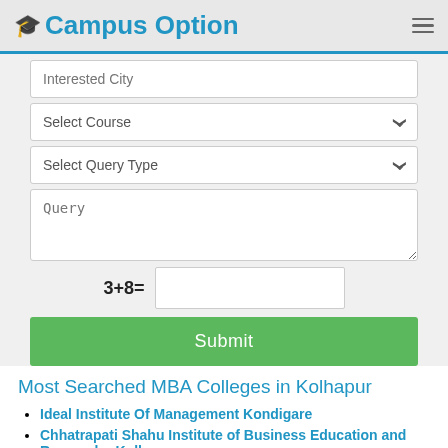Campus Option
Interested City
Select Course
Select Query Type
Query
Submit
Most Searched MBA Colleges in Kolhapur
Ideal Institute Of Management Kondigare
Chhatrapati Shahu Institute of Business Education and Research - Kolhapur